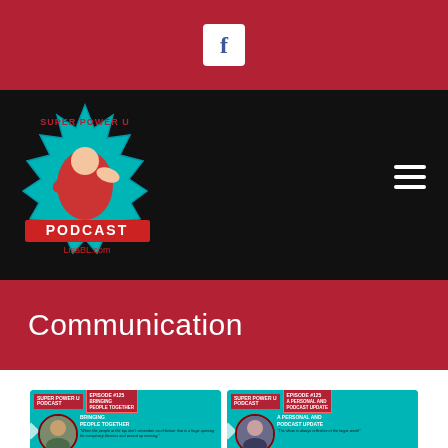[Figure (logo): Facebook icon button - white square with letter f]
[Figure (logo): Super Power U Podcast logo - teal starburst with illustrated woman flexing, red PODCAST banner, LisaBL.com text below]
[Figure (other): Hamburger menu icon - three white horizontal lines on black background]
Communication
[Figure (other): Super Power U Podcast Episode #125 card - Bringing People Together, with male guest photo]
[Figure (other): Super Power U Podcast Episode #125 card - A Personal and Podcast Update, with female guest photo and quote from Lisa]